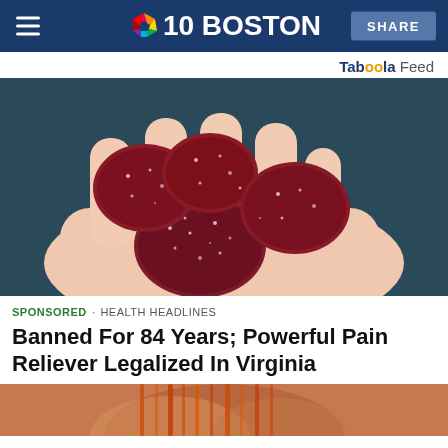NBC10 BOSTON | SHARE
Taboola Feed
[Figure (photo): Close-up photo of a hand holding several sugar-coated dark red gummy candies against a dark background]
SPONSORED · HEALTH HEADLINES
Banned For 84 Years; Powerful Pain Reliever Legalized In Virginia
[Figure (photo): Partial bottom image, appears to show a person with red/orange hair, cropped at bottom of page]